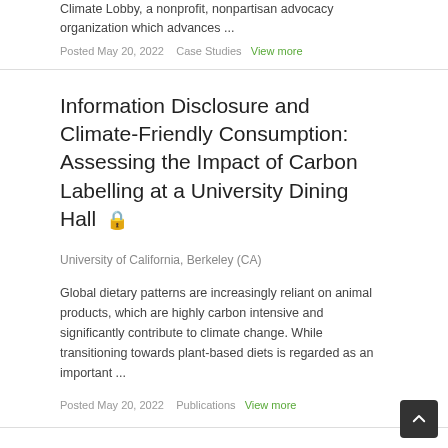Climate Lobby, a nonprofit, nonpartisan advocacy organization which advances ...
Posted May 20, 2022   Case Studies   View more
Information Disclosure and Climate-Friendly Consumption: Assessing the Impact of Carbon Labelling at a University Dining Hall 🔒
University of California, Berkeley (CA)
Global dietary patterns are increasingly reliant on animal products, which are highly carbon intensive and significantly contribute to climate change. While transitioning towards plant-based diets is regarded as an important ...
Posted May 20, 2022   Publications   View more
UM Scope 3 Purchased Goods & Services...